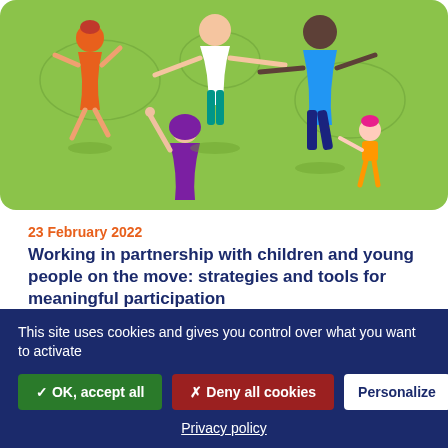[Figure (illustration): Colorful illustration on a green background showing diverse figures of children and young people dancing or moving together in a circle. One figure wears an orange dress, another wears teal pants and a white shirt, a third wears a purple outfit with a hijab and is reaching upward, and a fourth smaller figure in orange overalls stands to the right. World map outlines are faintly visible in the background.]
23 February 2022
Working in partnership with children and young people on the move: strategies and tools for meaningful participation
The International Institute for Child Rights and Development (IICRD) and Destination Unknown, a network of organisations and young people led by Terre des Hommes campaigning for the rights of children...
This site uses cookies and gives you control over what you want to activate
✓ OK, accept all
✗ Deny all cookies
Personalize
Privacy policy